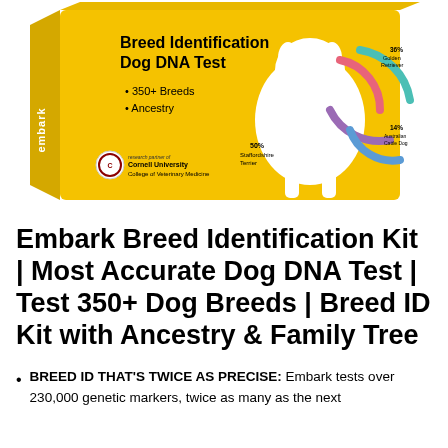[Figure (photo): Embark Breed Identification Dog DNA Test product box on yellow background featuring a white dog, colorful circular DNA graphic elements, Cornell University College of Veterinary Medicine logo, and text '350+ Breeds', 'Ancestry', with breed percentage labels: 50% Staffordshire Terrier, 36% Golden Retriever, 14% Australian Cattle Dog.]
Embark Breed Identification Kit | Most Accurate Dog DNA Test | Test 350+ Dog Breeds | Breed ID Kit with Ancestry & Family Tree
BREED ID THAT'S TWICE AS PRECISE: Embark tests over 230,000 genetic markers, twice as many as the next